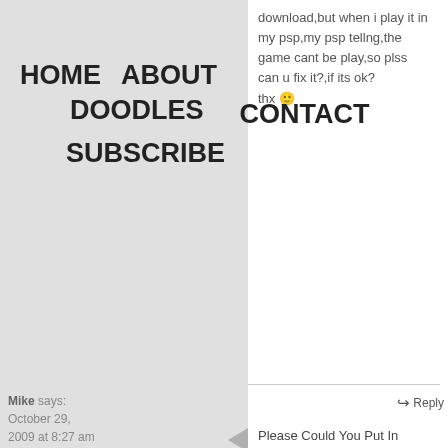HOME   ABOUT   DOODLES   CONTACT   SUBSCRIBE
download,but when i play it in my psp,my psp tellng,the game cant be play,so plss can u fix it?,if its ok? thx 🙂
Mike says: October 29, 2009 at 8:27 am
Please Could You Put In Naruto Shippuden Akatsuki Legends? Its The Most Latest Game I Think So You Wouldn't Have Problems Finding It. I Really Want The Game,Tried To Find Them But Its All From Megaupload And My Computer Doesn't Like Allow Megaupload So